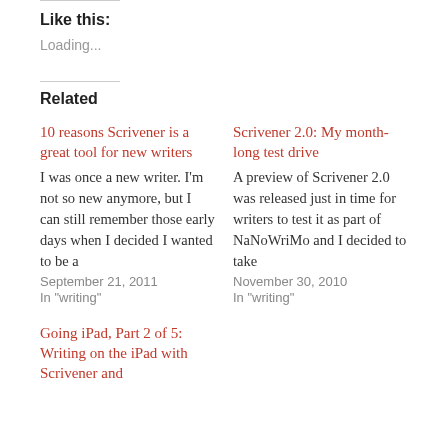Like this:
Loading...
Related
10 reasons Scrivener is a great tool for new writers
I was once a new writer. I'm not so new anymore, but I can still remember those early days when I decided I wanted to be a
September 21, 2011
In "writing"
Scrivener 2.0: My month-long test drive
A preview of Scrivener 2.0 was released just in time for writers to test it as part of NaNoWriMo and I decided to take
November 30, 2010
In "writing"
Going iPad, Part 2 of 5: Writing on the iPad with Scrivener and